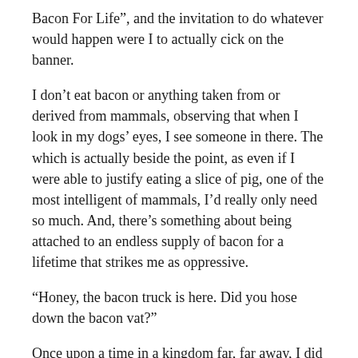Bacon For Life”, and the invitation to do whatever would happen were I to actually cick on the banner.
I don’t eat bacon or anything taken from or derived from mammals, observing that when I look in my dogs’ eyes, I see someone in there. The which is actually beside the point, as even if I were able to justify eating a slice of pig, one of the most intelligent of mammals, I’d really only need so much. And, there’s something about being attached to an endless supply of bacon for a lifetime that strikes me as oppressive.
“Honey, the bacon truck is here. Did you hose down the bacon vat?”
Once upon a time in a kingdom far, far away, I did